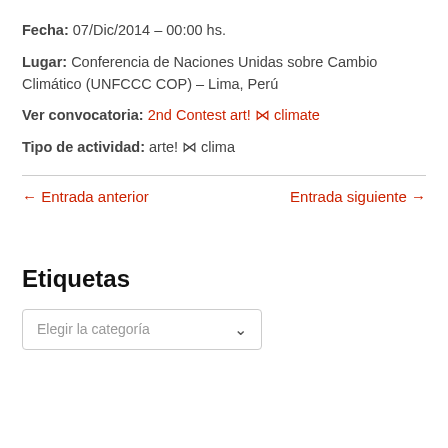Fecha: 07/Dic/2014 – 00:00 hs.
Lugar: Conferencia de Naciones Unidas sobre Cambio Climático (UNFCCC COP) – Lima, Perú
Ver convocatoria: 2nd Contest art! ⋈ climate
Tipo de actividad: arte! ⋈ clima
← Entrada anterior
Entrada siguiente →
Etiquetas
Elegir la categoría